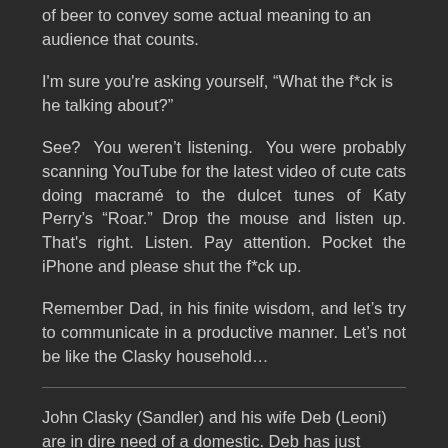of beer to convey some actual meaning to an audience that counts.
I'm sure you're asking yourself, “What the f*ck is he talking about?”
See? You weren’t listening. You were probably scanning YouTube for the latest video of cute cats doing macramé to the dulcet tunes of Katy Perry’s “Roar.” Drop the mouse and listen up. That's right. Listen. Pay attention. Pocket the iPhone and please shut the f*ck up.
Remember Dad, in his finite wisdom, and let’s try to communicate in a productive manner. Let’s not be like the Clasky household…
John Clasky (Sandler) and his wife Deb (Leoni) are in dire need of a domestic. Deb has just gotten out of the